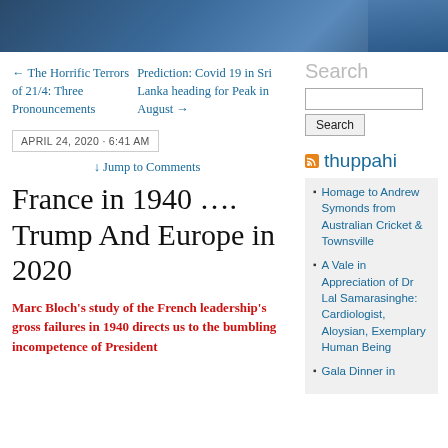[Figure (photo): Dark blue header banner image with a person in a blue jacket visible on the right side]
← The Horrific Terrors of 21/4: Three Pronouncements
Prediction: Covid 19 in Sri Lanka heading for Peak in August →
APRIL 24, 2020 · 6:41 AM
↓ Jump to Comments
France in 1940 …. Trump And Europe in 2020
Marc Bloch's study of the French leadership's gross failures in 1940 directs us to the bumbling incompetence of President
Search
thuppahi
Homage to Andrew Symonds from Australian Cricket & Townsville
A Vale in Appreciation of Dr Lal Samarasinghe: Cardiologist, Aloysian, Exemplary Human Being
Gala Dinner in